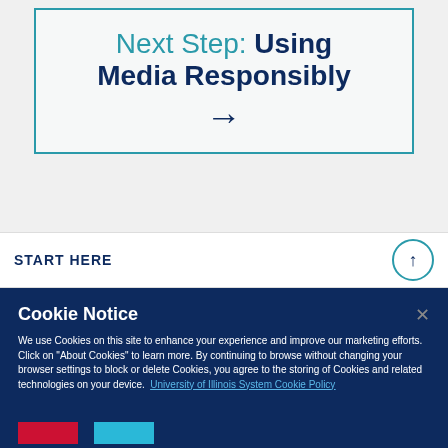Next Step: Using Media Responsibly →
START HERE
Cookie Notice
We use Cookies on this site to enhance your experience and improve our marketing efforts. Click on "About Cookies" to learn more. By continuing to browse without changing your browser settings to block or delete Cookies, you agree to the storing of Cookies and related technologies on your device. University of Illinois System Cookie Policy